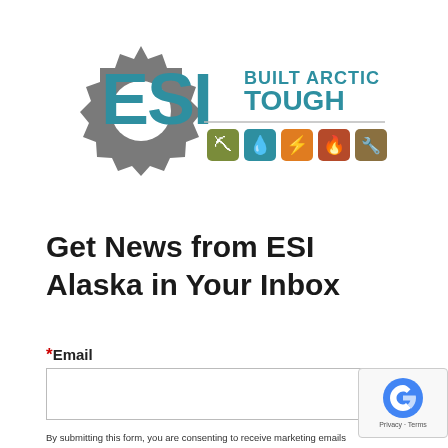[Figure (logo): ESI Alaska logo with gear icon, 'ESI BUILT ARCTIC TOUGH' text, and five colored service icons (earthwork, water, electric, fire/heating, tools)]
Get News from ESI Alaska in Your Inbox
*Email
By submitting this form, you are consenting to receive marketing emails